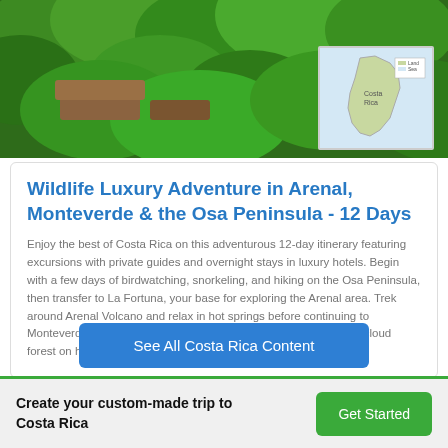[Figure (photo): Aerial view of a jungle lodge with green rainforest canopy, wooden structures, and a small inset map of Costa Rica in the top-right corner.]
Wildlife Luxury Adventure in Arenal, Monteverde & the Osa Peninsula - 12 Days
Enjoy the best of Costa Rica on this adventurous 12-day itinerary featuring excursions with private guides and overnight stays in luxury hotels. Begin with a few days of birdwatching, snorkeling, and hiking on the Osa Peninsula, then transfer to La Fortuna, your base for exploring the Arenal area. Trek around Arenal Volcano and relax in hot springs before continuing to Monteverde for a coffee tour and an unforgettable trip through the cloud forest on horseback.
See All Costa Rica Content
Create your custom-made trip to Costa Rica
Get Started